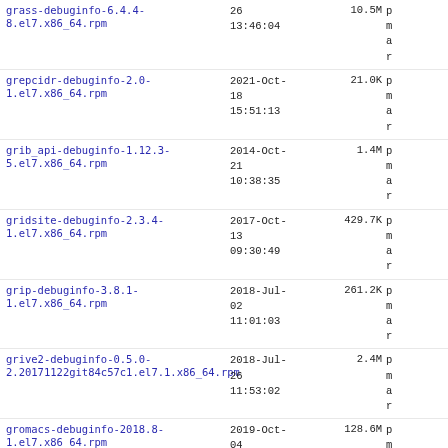grass-debuginfo-6.4.4-8.el7.x86_64.rpm  26  2021-... 13:46:04  10.5M
grepcidr-debuginfo-2.0-1.el7.x86_64.rpm  2021-Oct-18 15:51:13  21.0K
grib_api-debuginfo-1.12.3-5.el7.x86_64.rpm  2014-Oct-21 10:38:35  1.4M
gridsite-debuginfo-2.3.4-1.el7.x86_64.rpm  2017-Oct-13 09:30:49  429.7K
grip-debuginfo-3.8.1-1.el7.x86_64.rpm  2018-Jul-02 11:01:03  261.2K
grive2-debuginfo-0.5.0-2.20171122git84c57c1.el7.1.x86_64.rpm  2018-Jul-26 11:53:02  2.4M
gromacs-debuginfo-2018.8-1.el7.x86_64.rpm  2019-Oct-04 23:21:05  128.6M
grsync-debuginfo-1.2.6-1.el7.x86_64.rpm  2018-Apr-16 22:20:38  65.2K
grub-customizer-debuginfo-5.0.8-  2018-Jun-10  ...